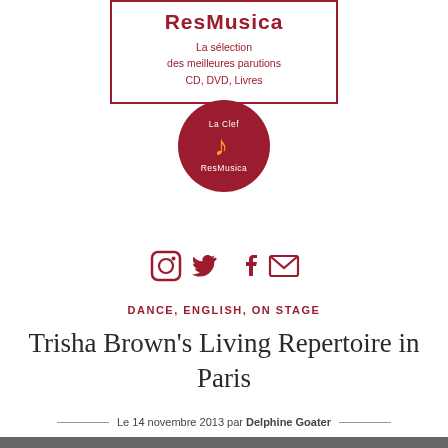ResMusica — La sélection des meilleures parutions CD, DVD, Livres
[Figure (logo): La Clef ResMusica circular logo with music note in red circle]
[Figure (infographic): Social media icons: Instagram, Twitter, Facebook, Email]
DANCE, ENGLISH, ON STAGE
Trisha Brown's Living Repertoire in Paris
Le 14 novembre 2013 par Delphine Goater